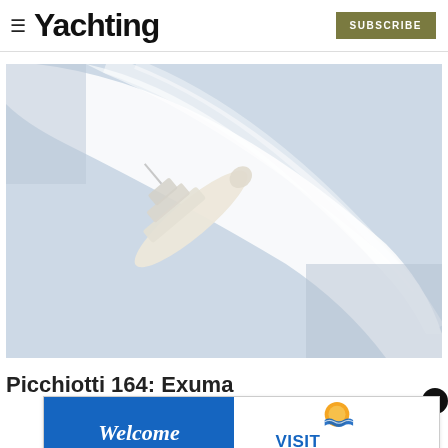≡ Yachting  SUBSCRIBE
[Figure (photo): Aerial view of a large motor yacht making a sharp turn at speed in open water, creating a wide white wake. The yacht appears pale/white in color, photographed from above.]
Picchiotti 164: Exuma
[Figure (other): Advertisement banner: 'Welcome Captains & First Mates' on blue background, with Visit Lauderdale logo and text 'Everyone Under the Sun']